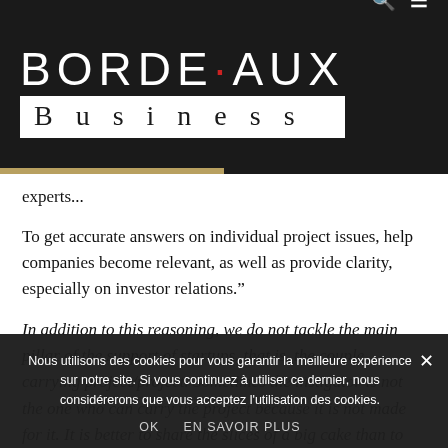BORDEAUX Business
experts...
To get accurate answers on individual project issues, help companies become relevant, as well as provide clarity, especially on investor relations."
In addition to this reasoning, we do not tackle the main pillar of the support of startups, that is, the couple carrying project/project. Sometimes the instigator is not the one who can carry the project because it is not made for it. It is better to share the slices of a big cake than to have a huge slice of a no
Not everyone has the vocation to become a leader. It is not a
Nous utilisons des cookies pour vous garantir la meilleure expérience sur notre site. Si vous continuez à utiliser ce dernier, nous considérerons que vous acceptez l'utilisation des cookies.
OK   EN SAVOIR PLUS